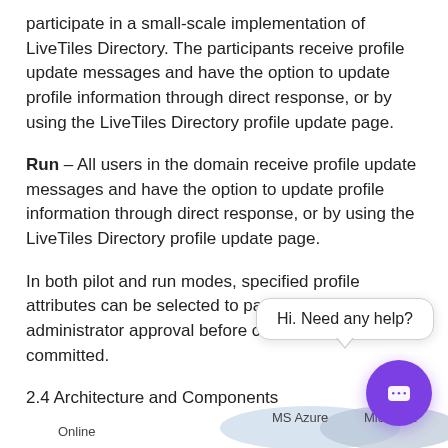participate in a small-scale implementation of LiveTiles Directory. The participants receive profile update messages and have the option to update profile information through direct response, or by using the LiveTiles Directory profile update page.
Run – All users in the domain receive profile update messages and have the option to update profile information through direct response, or by using the LiveTiles Directory profile update page.
In both pilot and run modes, specified profile attributes can be selected to pass specified administrator approval before changes are committed.
2.4 Architecture and Components
[Figure (infographic): Architecture diagram showing Online, MS Azure, and Microsoft components]